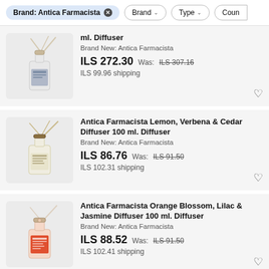Brand: Antica Farmacista × | Brand ∨ | Type ∨ | Coun
ml. Diffuser
Brand New: Antica Farmacista
ILS 272.30  Was: ILS 307.16
ILS 99.96 shipping
Antica Farmacista Lemon, Verbena & Cedar Diffuser 100 ml. Diffuser
Brand New: Antica Farmacista
ILS 86.76  Was: ILS 91.50
ILS 102.31 shipping
Antica Farmacista Orange Blossom, Lilac & Jasmine Diffuser 100 ml. Diffuser
Brand New: Antica Farmacista
ILS 88.52  Was: ILS 91.50
ILS 102.41 shipping